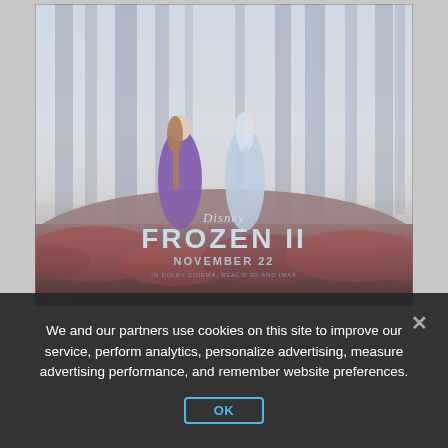[Figure (illustration): Disney Frozen II movie poster showing Anna and Elsa standing in a misty enchanted forest with red foliage. Text reads: Disney FROZEN II NOVEMBER 22 IN DOLBY CINEMA, REAL D 3D AND IMAX. Copyright Disney.]
We and our partners use cookies on this site to improve our service, perform analytics, personalize advertising, measure advertising performance, and remember website preferences.
OK